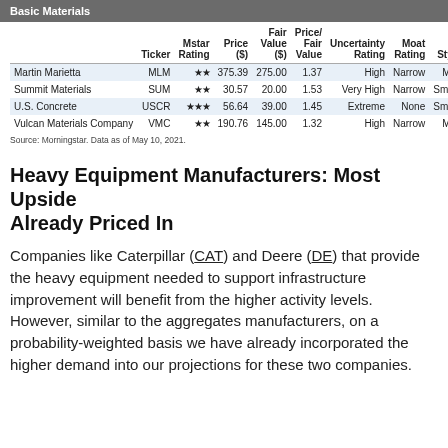Basic Materials
|  | Ticker | Mstar Rating | Price ($) | Fair Value ($) | Price/ Fair Value | Uncertainty Rating | Moat Rating | Style Box |
| --- | --- | --- | --- | --- | --- | --- | --- | --- |
| Martin Marietta | MLM | ★★ | 375.39 | 275.00 | 1.37 | High | Narrow | Mid Core |
| Summit Materials | SUM | ★★ | 30.57 | 20.00 | 1.53 | Very High | Narrow | Small Core |
| U.S. Concrete | USCR | ★★★ | 56.64 | 39.00 | 1.45 | Extreme | None | Small Core |
| Vulcan Materials Company | VMC | ★★ | 190.76 | 145.00 | 1.32 | High | Narrow | Mid Core |
Source: Morningstar. Data as of May 10, 2021.
Heavy Equipment Manufacturers: Most Upside Already Priced In
Companies like Caterpillar (CAT) and Deere (DE) that provide the heavy equipment needed to support infrastructure improvement will benefit from the higher activity levels. However, similar to the aggregates manufacturers, on a probability-weighted basis we have already incorporated the higher demand into our projections for these two companies.